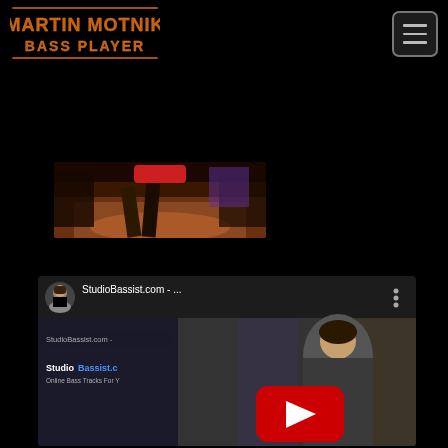[Figure (logo): Martin Motnik Bass Player logo with orange/gold stylized text on black background]
[Figure (screenshot): Navigation hamburger menu button, dark with three horizontal lines]
[Figure (screenshot): Video thumbnail showing a concert/stage scene with warm orange lighting, performer legs visible]
[Figure (screenshot): YouTube video embed thumbnail for StudioBassist.com showing a person and YouTube play button, with channel avatar and title 'StudioBassist.com - ...']